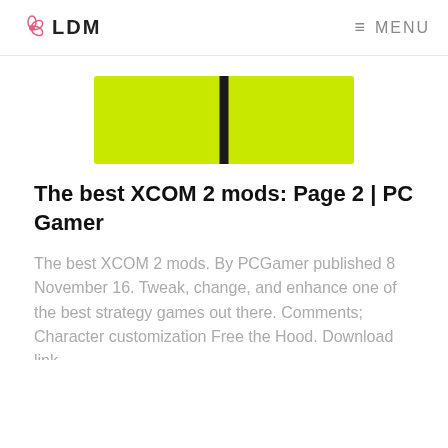LDM   MENU
[Figure (photo): Partial view of a yellow/lime green vest or jacket item cropped at the top of the page]
The best XCOM 2 mods: Page 2 | PC Gamer
The best XCOM 2 mods. By PCGamer published 8 November 16. Tweak, change, and enhance one of the best strategy games out there. Comments; Character customization Free the Hood. Download link.
[Figure (photo): DEEKON logo in red bold text alongside a cropped photo of a black jacket/vest with straps and buckles]